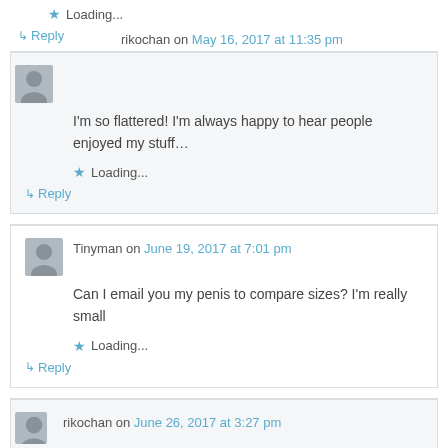★ Loading...
↳ Reply
rikochan on May 16, 2017 at 11:35 pm
I'm so flattered! I'm always happy to hear people enjoyed my stuff…
★ Loading...
↳ Reply
Tinyman on June 19, 2017 at 7:01 pm
Can I email you my penis to compare sizes? I'm really small
★ Loading...
↳ Reply
rikochan on June 26, 2017 at 3:27 pm